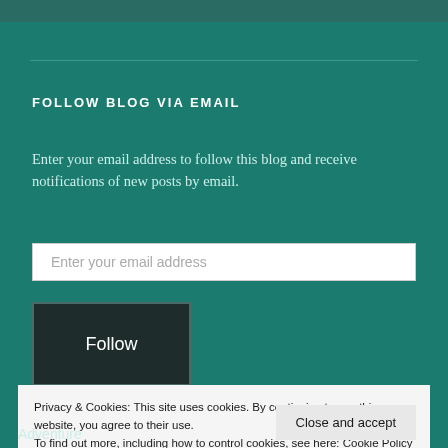FOLLOW BLOG VIA EMAIL
Enter your email address to follow this blog and receive notifications of new posts by email.
Enter your email address
Follow
Privacy & Cookies: This site uses cookies. By continuing to use this website, you agree to their use.
To find out more, including how to control cookies, see here: Cookie Policy
Close and accept
Adventure